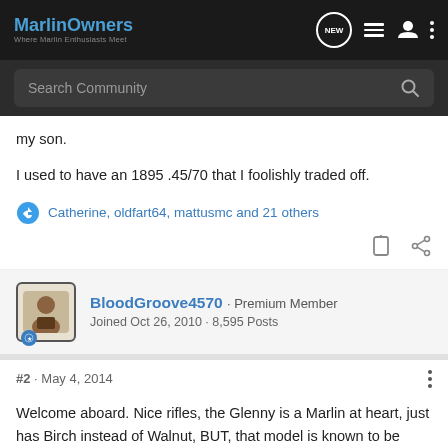MarlinOwners — Where Marlin Enthusiasts Meet
my son.
I used to have an 1895 .45/70 that I foolishly traded off.
Catherine, oldfart64, mattusmc and 21 others
BloodGroove4570 · Premium Member
Joined Oct 26, 2010 · 8,595 Posts
#2 · May 4, 2014
Welcome aboard. Nice rifles, the Glenny is a Marlin at heart, just has Birch instead of Walnut, BUT, that model is known to be VERY accurate and a joy to carry...